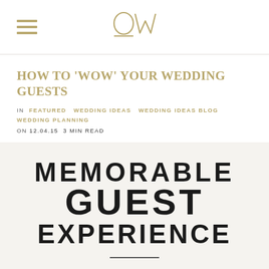OW logo with hamburger menu
HOW TO 'WOW' YOUR WEDDING GUESTS
IN FEATURED   WEDDING IDEAS   WEDDING IDEAS BLOG   WEDDING PLANNING
ON 12.04.15  3 MIN READ
[Figure (illustration): Large bold text on off-white background reading: MEMORABLE GUEST EXPERIENCE with a short horizontal divider line below]